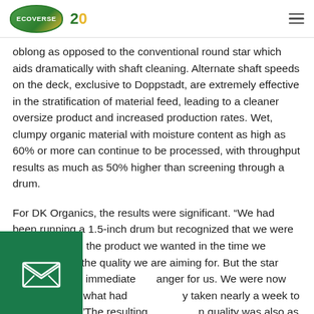ECOVERSE | 20
oblong as opposed to the conventional round star which aids dramatically with shaft cleaning. Alternate shaft speeds on the deck, exclusive to Doppstadt, are extremely effective in the stratification of material feed, leading to a cleaner oversize product and increased production rates. Wet, clumpy organic material with moisture content as high as 60% or more can continue to be processed, with throughput results as much as 50% higher than screening through a drum.
For DK Organics, the results were significant. “We had been running a 1.5-inch drum but recognized that we were just not getting the product we wanted in the time we wanted it with the quality we are aiming for. But the star screen was an immediate [ch]anger for us. We were now doing in a day what had [previousl]y taken nearly a week to run. Seriously.”The resulting [reductio]n quality was also as dramatic, and Mariani believes this single equipment investment alone has put them far ahead of
[Figure (illustration): Green square button with an open envelope/email icon in white]